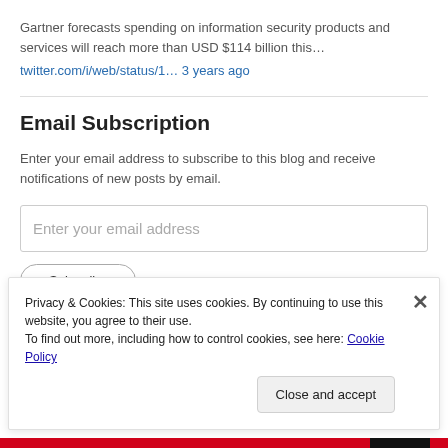Gartner forecasts spending on information security products and services will reach more than USD $114 billion this…
twitter.com/i/web/status/1… 3 years ago
Email Subscription
Enter your email address to subscribe to this blog and receive notifications of new posts by email.
Enter your email address
Privacy & Cookies: This site uses cookies. By continuing to use this website, you agree to their use.
To find out more, including how to control cookies, see here: Cookie Policy
Close and accept